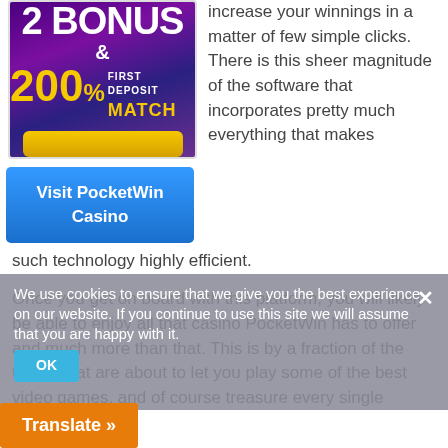[Figure (illustration): Casino bonus promotional image with purple/dark background showing '200% FIRST DEPOSIT MATCH' text in white and gold, with a gold bar graphic at the bottom]
increase your winnings in a matter of few simple clicks. There is this sheer magnitude of the software that incorporates pretty much everything that makes such technology highly efficient.
[Figure (other): Blue button labeled 'Visit PocketWin Casino']
Once you get on board with this platform, you will likely be able to enjoy all that casino PocketWin has to offer and much more than that. This is by a fraction of the things that are about to let you play some of the best video games, and of course treasure every single moment of it.
Visit the casino's social media pages, or return to its main site for instant feedback and news related to promotions, tournaments and an even greater deal of bonus games to play.
should help you get started pretty quick, and
We use cookies to ensure that we give you the best experience on our website. If you continue to use this site we will assume that you are happy with it.
Translate »